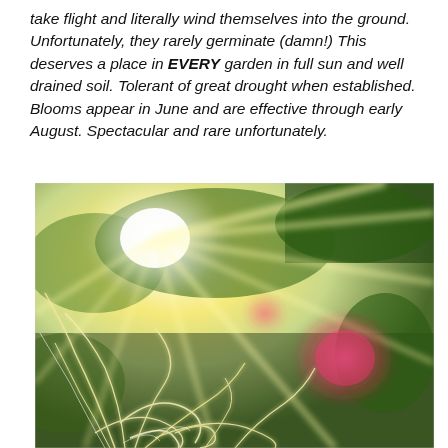take flight and literally wind themselves into the ground. Unfortunately, they rarely germinate (damn!) This deserves a place in EVERY garden in full sun and well drained soil. Tolerant of great drought when established. Blooms appear in June and are effective through early August. Spectacular and rare unfortunately.
[Figure (photo): Sunlit photo of ornamental grass with wispy, curling seed heads glowing in bright sunlight with lens flare effects including rays of light and pink bokeh circles, green foliage visible in background.]